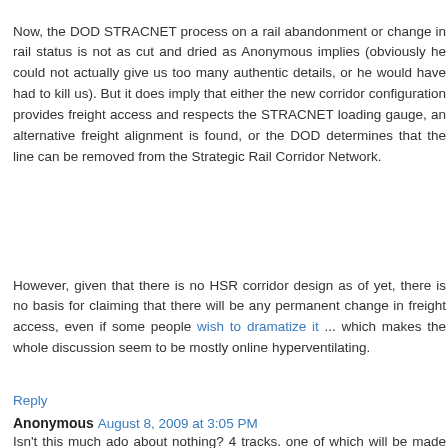Now, the DOD STRACNET process on a rail abandonment or change in rail status is not as cut and dried as Anonymous implies (obviously he could not actually give us too many authentic details, or he would have had to kill us). But it does imply that either the new corridor configuration provides freight access and respects the STRACNET loading gauge, an alternative freight alignment is found, or the DOD determines that the line can be removed from the Strategic Rail Corridor Network.
However, given that there is no HSR corridor design as of yet, there is no basis for claiming that there will be any permanent change in freight access, even if some people wish to dramatize it ... which makes the whole discussion seem to be mostly online hyperventilating.
Reply
Anonymous August 8, 2009 at 3:05 PM
Isn't this much ado about nothing? 4 tracks. one of which will be made available to UP as needed. There just isn't a